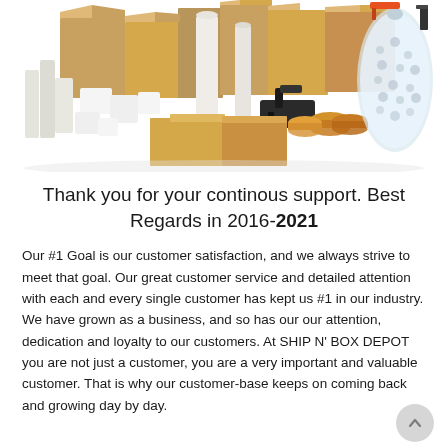[Figure (photo): Photo of packaging supplies including cardboard boxes, foam pieces, tape dispensers, tape rolls, plastic bag of packing peanuts, and other shipping materials arranged together on a white background.]
Thank you for your continous support. Best Regards in 2016-2021
Our #1 Goal is our customer satisfaction, and we always strive to meet that goal. Our great customer service and detailed attention with each and every single customer has kept us #1 in our industry. We have grown as a business, and so has our our attention, dedication and loyalty to our customers. At SHIP N' BOX DEPOT you are not just a customer, you are a very important and valuable customer. That is why our customer-base keeps on coming back and growing day by day.